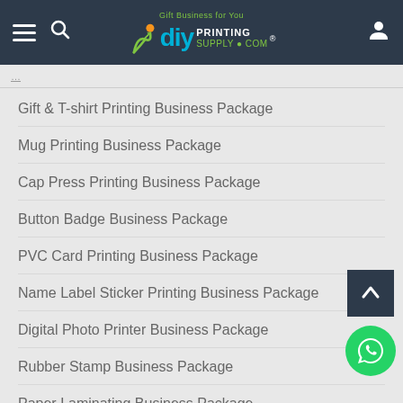DIY Printing Supply - Gift Business for You
Gift & T-shirt Printing Business Package
Mug Printing Business Package
Cap Press Printing Business Package
Button Badge Business Package
PVC Card Printing Business Package
Name Label Sticker Printing Business Package
Digital Photo Printer Business Package
Rubber Stamp Business Package
Paper Laminating Business Package